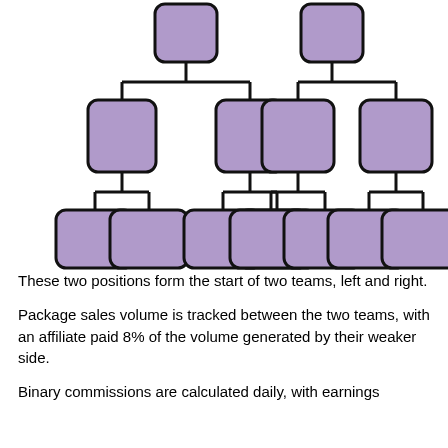[Figure (organizational-chart): Binary organizational chart showing two root nodes at top, each branching into two child nodes, each child then branching into two leaf nodes, for a total of 8 leaf nodes at the bottom. All nodes are purple rounded rectangles with black borders.]
These two positions form the start of two teams, left and right.
Package sales volume is tracked between the two teams, with an affiliate paid 8% of the volume generated by their weaker side.
Binary commissions are calculated daily, with earnings